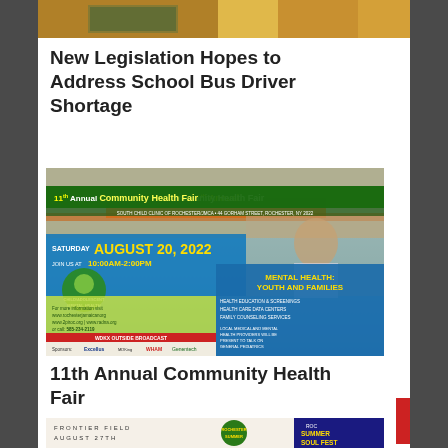[Figure (photo): Top partial image strip showing what appears to be school-related imagery with orange and tan tones]
New Legislation Hopes to Address School Bus Driver Shortage
[Figure (infographic): 11th Annual Community Health Fair poster. Saturday August 20, 2022. Join us at 10:00AM-2:00PM. Topics: Mental Health: Youth and Families, Child/Adolescent Mental Health. Sponsors: Excellus, MDKing, WHAM, Genentech. WDKX Outside Broadcast. Contact: www.rochesterjamaicanorg, www.2piroc.org, www.radna.org, 585-234-2119]
11th Annual Community Health Fair
[Figure (infographic): Bottom partial image showing Frontier Field August 27th, Rochester Summer event, and Rochester Summer Soul Fest logos]